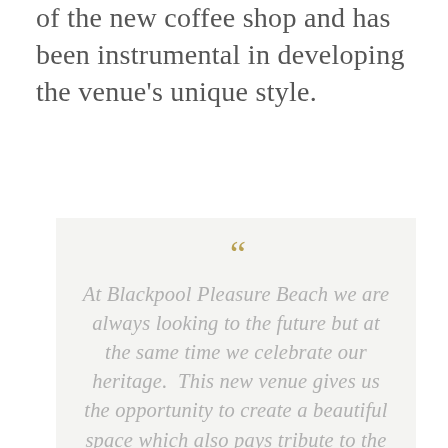of the new coffee shop and has been instrumental in developing the venue's unique style.
“At Blackpool Pleasure Beach we are always looking to the future but at the same time we celebrate our heritage. This new venue gives us the opportunity to create a beautiful space which also pays tribute to the fabulous